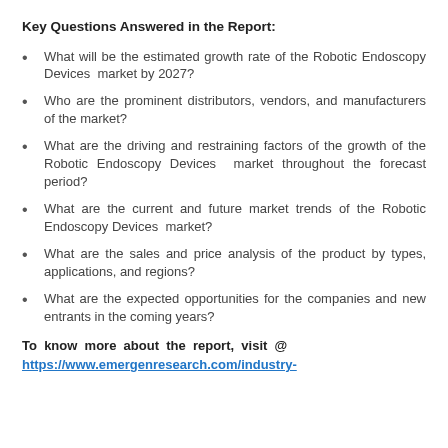Key Questions Answered in the Report:
What will be the estimated growth rate of the Robotic Endoscopy Devices market by 2027?
Who are the prominent distributors, vendors, and manufacturers of the market?
What are the driving and restraining factors of the growth of the Robotic Endoscopy Devices market throughout the forecast period?
What are the current and future market trends of the Robotic Endoscopy Devices market?
What are the sales and price analysis of the product by types, applications, and regions?
What are the expected opportunities for the companies and new entrants in the coming years?
To know more about the report, visit @ https://www.emergenresearch.com/industry-